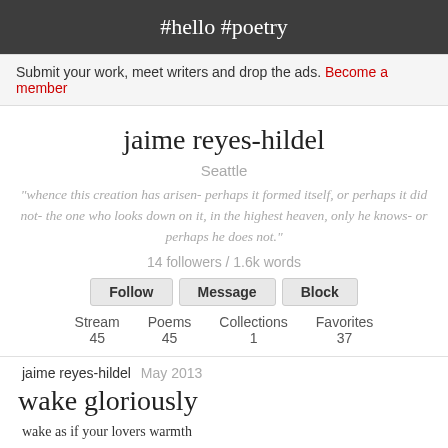#hello #poetry
Submit your work, meet writers and drop the ads. Become a member
jaime reyes-hildel
Seattle
"whence this creation has arisen- perhaps it formed itself, or perhaps it did not- the one who looks down on it, in the highest heaven, only he knows- or perhaps he does not."
14 followers / 1.6k words
Follow  Message  Block
| Stream | Poems | Collections | Favorites |
| --- | --- | --- | --- |
| 45 | 45 | 1 | 37 |
jaime reyes-hildel  May 2013
wake gloriously
wake as if your lovers warmth